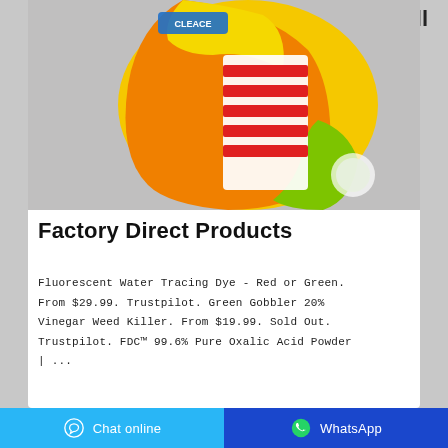All
[Figure (photo): Product photo of a yellow and orange laundry detergent powder bag (Cleace brand), shown at an angle against a grey background, with red and white label panels visible on the back.]
Factory Direct Products
Fluorescent Water Tracing Dye - Red or Green. From $29.99. Trustpilot. Green Gobbler 20% Vinegar Weed Killer. From $19.99. Sold Out. Trustpilot. FDC™ 99.6% Pure Oxalic Acid Powder | ...
Chat online
WhatsApp